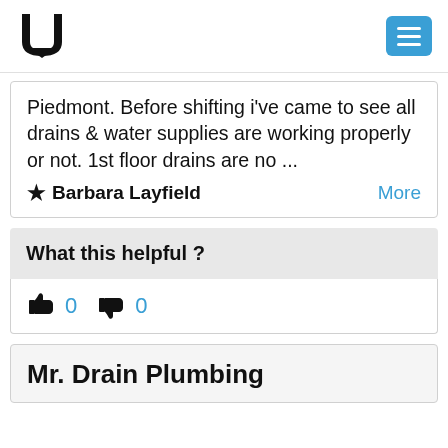U logo and menu button
Piedmont. Before shifting i've came to see all drains & water supplies are working properly or not. 1st floor drains are no ...
Barbara Layfield   More
What this helpful ?
👍 0   👎 0
Mr. Drain Plumbing